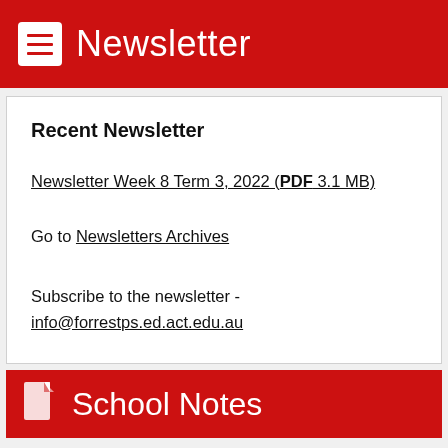Newsletter
Recent Newsletter
Newsletter Week 8 Term 3, 2022 (PDF 3.1 MB)
Go to Newsletters Archives
Subscribe to the newsletter - info@forrestps.ed.act.edu.au
School Notes